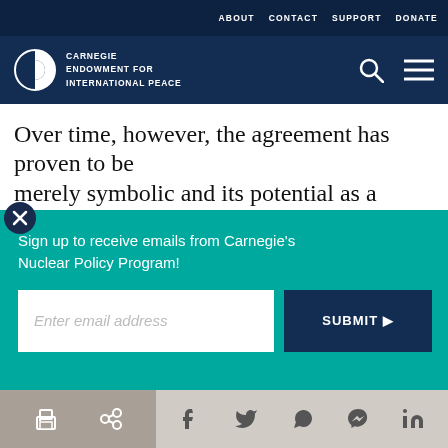ABOUT   CONTACT   SUPPORT   DONATE
[Figure (logo): Carnegie Endowment for International Peace logo — circular half-filled icon with organization name in white text on dark navy background]
Over time, however, the agreement has proven to be merely symbolic and its potential as a building block f...
Sign up to receive emails from Carnegie's Nuclear Policy Program!
Enter email address
SUBMIT ▶
our cookie policy.
nuclear weapons-related facilities from their [iii]
Print | Share | Facebook | Twitter | WhatsApp | Messenger | LinkedIn